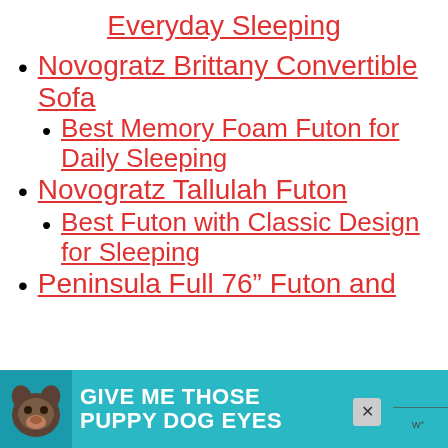Everyday Sleeping
Novogratz Brittany Convertible Sofa
Best Memory Foam Futon for Daily Sleeping
Novogratz Tallulah Futon
Best Futon with Classic Design for Sleeping
Peninsula Full 76″ Futon and
[Figure (infographic): Advertisement banner with teal background showing a dog and text 'GIVE ME THOSE PUPPY DOG EYES' with a close button and logo]